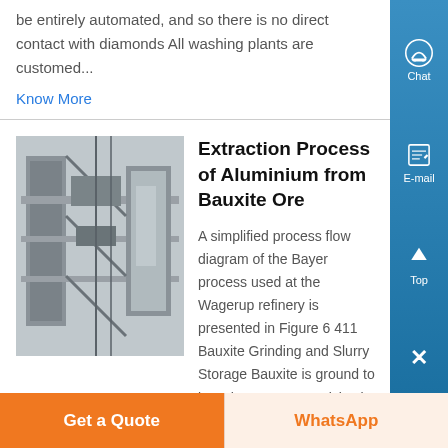be entirely automated, and so there is no direct contact with diamonds All washing plants are customed...
Know More
Extraction Process of Aluminium from Bauxite Ore
[Figure (photo): Industrial equipment photo showing metal structures and machinery at a refinery or processing plant]
A simplified process flow diagram of the Bayer process used at the Wagerup refinery is presented in Figure 6 411 Bauxite Grinding and Slurry Storage Bauxite is ground to less than 15 mm particle size at the refinery, using semi-autogenous grinding mills (SAG and/or
Get a Quote
WhatsApp